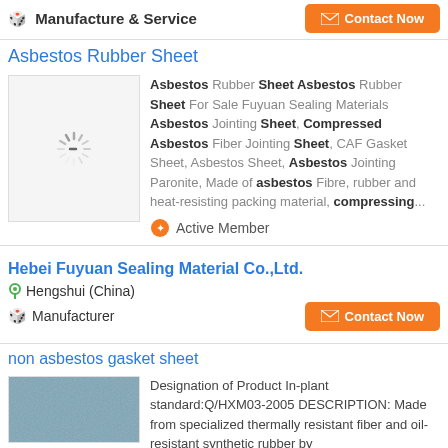Manufacture & Service
Contact Now
Asbestos Rubber Sheet
[Figure (photo): Loading spinner placeholder image for Asbestos Rubber Sheet product]
Asbestos Rubber Sheet Asbestos Rubber Sheet For Sale Fuyuan Sealing Materials Asbestos Jointing Sheet, Compressed Asbestos Fiber Jointing Sheet, CAF Gasket Sheet, Asbestos Sheet, Asbestos Jointing Paronite, Made of asbestos Fibre, rubber and heat-resisting packing material, compressing...
Active Member
Hebei Fuyuan Sealing Material Co.,Ltd.
Hengshui (China)
Manufacturer
Contact Now
non asbestos gasket sheet
[Figure (photo): Blue/grey textured non asbestos gasket sheet material photo]
Designation of Product In-plant standard:Q/HXM03-2005 DESCRIPTION: Made from specialized thermally resistant fiber and oil-resistant synthetic rubber by